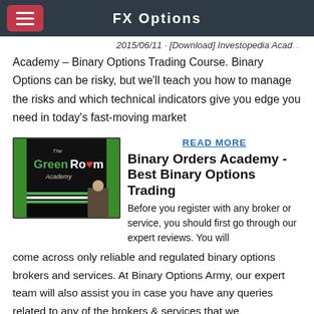FX Options
2015/06/11 · [Download] Investopedia Academy – Binary Options Trading Course. Binary Options can be risky, but we'll teach you how to manage the risks and which technical indicators give you edge you need in today's fast-moving market
[Figure (screenshot): GreenRoom Academy logo/screenshot thumbnail]
READ MORE
Binary Orders Academy - Best Binary Options Trading
Before you register with any broker or service, you should first go through our expert reviews. You will come across only reliable and regulated binary options brokers and services. At Binary Options Army, our expert team will also assist you in case you have any queries related to any of the brokers & services that we recommend.